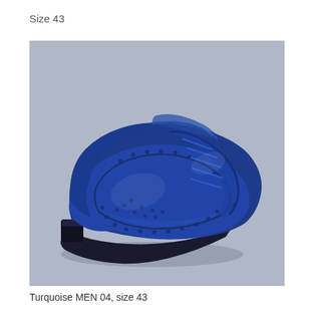Size 43
[Figure (photo): A blue suede men's brogue oxford shoe (wingtip style) with laces, photographed at an angle on a light grey background.]
Turquoise MEN 04, size 43